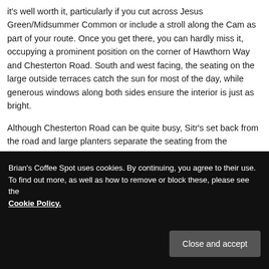it's well worth it, particularly if you cut across Jesus Green/Midsummer Common or include a stroll along the Cam as part of your route. Once you get there, you can hardly miss it, occupying a prominent position on the corner of Hawthorn Way and Chesterton Road. South and west facing, the seating on the large outside terraces catch the sun for most of the day, while generous windows along both sides ensure the interior is just as bright.
Although Chesterton Road can be quite busy, Sitr's set back from the road and large planters separate the seating from the pavement, making it an ideal outdoor spot. The entrance is on the corner, cut-off at 45° and occupied by a pair of double doors (push the one on the
Brian's Coffee Spot uses cookies. By continuing, you agree to their use. To find out more, as well as how to remove or block these, please see the Cookie Policy.
Close and accept